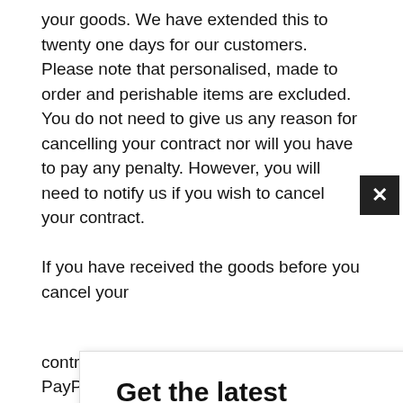your goods. We have extended this to twenty one days for our customers. Please note that personalised, made to order and perishable items are excluded. You do not need to give us any reason for cancelling your contract nor will you have to pay any penalty. However, you will need to notify us if you wish to cancel your contract.
If you have received the goods before you cancel your
[Figure (other): Newsletter subscription modal overlay with heading 'Get the latest deals and more.', email input field, SUBSCRIBE button in teal, and 'Thank you, I already subscribed.' link. A black X close button appears in the top-right corner of the modal.]
contract, any sum debited to us from your PayPal